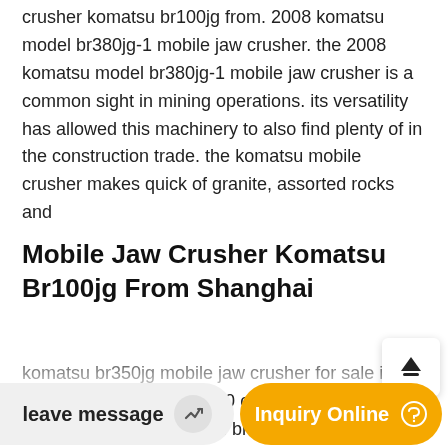crusher komatsu br100jg from. 2008 komatsu model br380jg-1 mobile jaw crusher. the 2008 komatsu model br380jg-1 mobile jaw crusher is a common sight in mining operations. its versatility has allowed this machinery to also find plenty of in the construction trade. the komatsu mobile crusher makes quick of granite, assorted rocks and
Mobile Jaw Crusher Komatsu Br100jg From Shanghai
komatsu br350jg mobile jaw crusher for sale in singapore. komatsu br 380 crusher for sale mobile crushers all over komatsu br crusher for sale liming heavy industry is specialized in the design, manufacture and supply of comprises mobile crushing